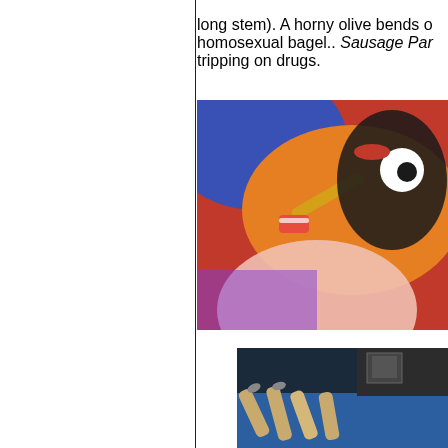long stem). A horny olive bends o... homosexual bagel.. Sausage Par... tripping on drugs.
[Figure (photo): Animated movie still showing a colorful cartoon sausage character with orange skin against vivid blue and red background, with a round pale object in foreground]
[Figure (photo): Photo of cigarettes or rolled items on a blue surface with dark background]